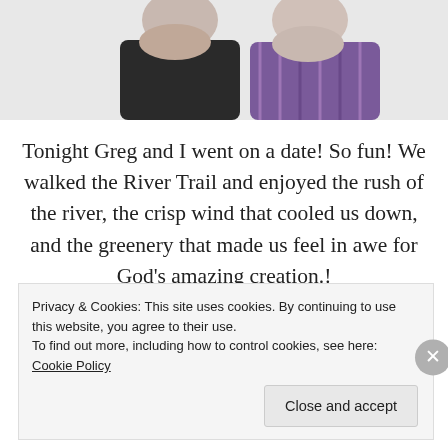[Figure (photo): Cropped photo showing two men facing each other, one in a dark shirt and one in a purple plaid shirt, against a white background.]
Tonight Greg and I went on a date! So fun! We walked the River Trail and enjoyed the rush of the river, the crisp wind that cooled us down, and the greenery that made us feel in awe for God's amazing creation.!
After our 4-mile walk Greg and I decided to grab a quick bite before heading into the movies to watch The Incredibles (don't judge)
Privacy & Cookies: This site uses cookies. By continuing to use this website, you agree to their use.
To find out more, including how to control cookies, see here: Cookie Policy
Close and accept